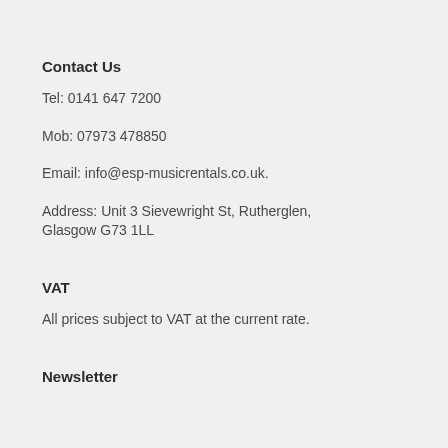Contact Us
Tel: 0141 647 7200
Mob: 07973 478850
Email: info@esp-musicrentals.co.uk.
Address: Unit 3 Sievewright St, Rutherglen, Glasgow G73 1LL
VAT
All prices subject to VAT at the current rate.
Newsletter